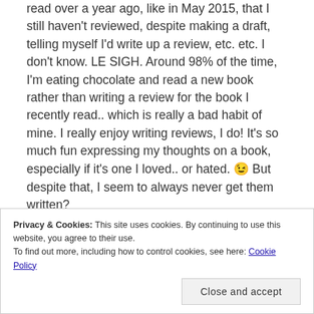read over a year ago, like in May 2015, that I still haven't reviewed, despite making a draft, telling myself I'd write up a review, etc. etc. I don't know. LE SIGH. Around 98% of the time, I'm eating chocolate and read a new book rather than writing a review for the book I recently read.. which is really a bad habit of mine. I really enjoy writing reviews, I do! It's so much fun expressing my thoughts on a book, especially if it's one I loved.. or hated. 😉 But despite that, I seem to always never get them written?
*Hey, I like to dream, alright? No raining on my parade here.
Privacy & Cookies: This site uses cookies. By continuing to use this website, you agree to their use. To find out more, including how to control cookies, see here: Cookie Policy
Close and accept